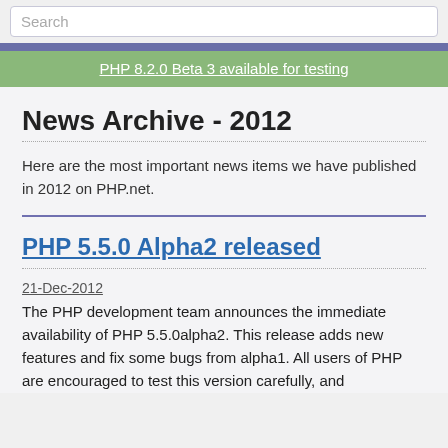Search
PHP 8.2.0 Beta 3 available for testing
News Archive - 2012
Here are the most important news items we have published in 2012 on PHP.net.
PHP 5.5.0 Alpha2 released
21-Dec-2012
The PHP development team announces the immediate availability of PHP 5.5.0alpha2. This release adds new features and fix some bugs from alpha1. All users of PHP are encouraged to test this version carefully, and